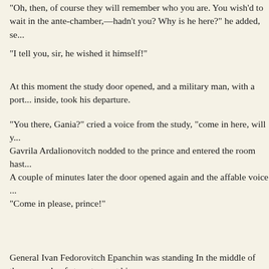"Oh, then, of course they will remember who you are. You wished to wait in the ante-chamber,—hadn't you? Why is he here?" he added, se...
"I tell you, sir, he wished it himself!"
At this moment the study door opened, and a military man, with a port... inside, took his departure.
"You there, Gania?" cried a voice from the study, "come in here, will y...
Gavrila Ardalionovitch nodded to the prince and entered the room hast...
A couple of minutes later the door opened again and the affable voice ...
"Come in please, prince!"
General Ivan Fedorovitch Epanchin was standing In the middle of the ... couple of steps to meet him.
The prince came forward and introduced himself.
"Quite so," replied the general, "and what can I do for you?"
"Oh, I have no special business; my principal object was to make your... arrangements here, you see, but I have only just arrived. I came straigh...
The general very nearly smiled, but thought better of it and kept his...